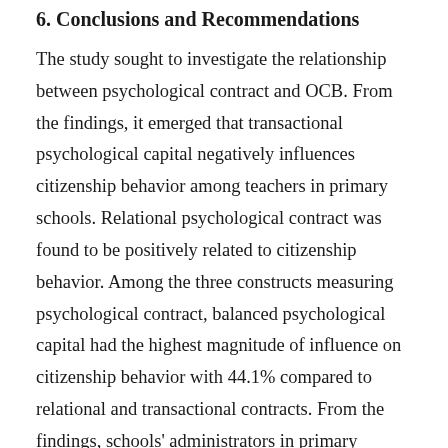6. Conclusions and Recommendations
The study sought to investigate the relationship between psychological contract and OCB. From the findings, it emerged that transactional psychological capital negatively influences citizenship behavior among teachers in primary schools. Relational psychological contract was found to be positively related to citizenship behavior. Among the three constructs measuring psychological contract, balanced psychological capital had the highest magnitude of influence on citizenship behavior with 44.1% compared to relational and transactional contracts. From the findings, schools' administrators in primary schools in